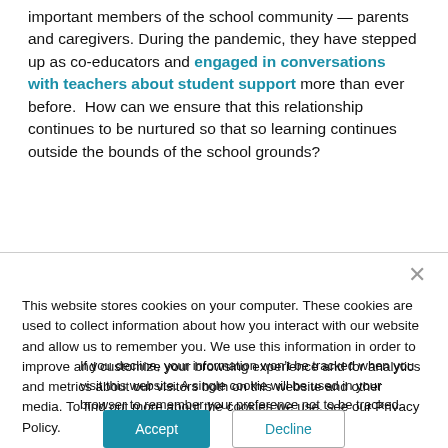important members of the school community — parents and caregivers. During the pandemic, they have stepped up as co-educators and engaged in conversations with teachers about student support more than ever before. How can we ensure that this relationship continues to be nurtured so that so learning continues outside the bounds of the school grounds?
This website stores cookies on your computer. These cookies are used to collect information about how you interact with our website and allow us to remember you. We use this information in order to improve and customize your browsing experience and for analytics and metrics about our visitors both on this website and other media. To find out more about the cookies we use, see our Privacy Policy.
If you decline, your information won't be tracked when you visit this website. A single cookie will be used in your browser to remember your preference not to be tracked.
Accept | Decline